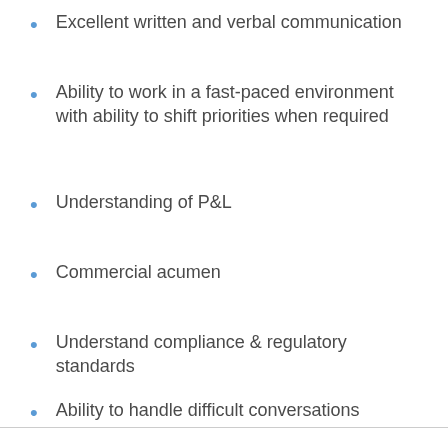Excellent written and verbal communication
Ability to work in a fast-paced environment with ability to shift priorities when required
Understanding of P&L
Commercial acumen
Understand compliance & regulatory standards
Ability to handle difficult conversations